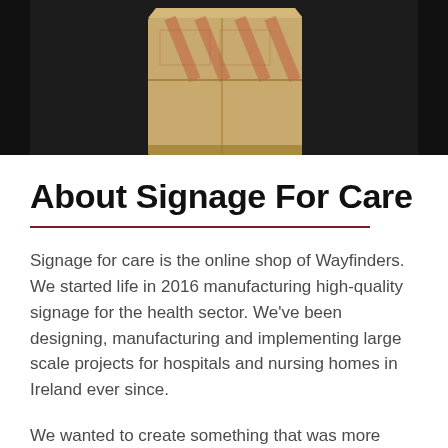[Figure (photo): Two people standing on either side of a large cardboard box with tape markings, photographed from mid-torso down. One person wears grey top and black trousers, the other wears white shirt and dark trousers with a watch visible.]
About Signage For Care
Signage for care is the online shop of Wayfinders. We started life in 2016 manufacturing high-quality signage for the health sector. We've been designing, manufacturing and implementing large scale projects for hospitals and nursing homes in Ireland ever since.
We wanted to create something that was more effective for dementia residents while complementing